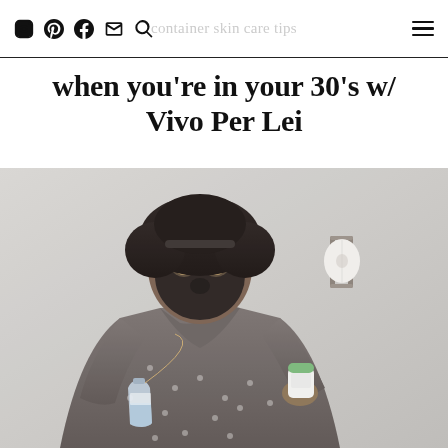container skin care tips
when you're in your 30's w/ Vivo Per Lei
[Figure (photo): A woman wearing a dark clay face mask and a grey polka-dot robe, drinking from a water bottle and holding a small green-capped product container, seated in a bathroom with a toilet paper holder visible on the wall behind her.]